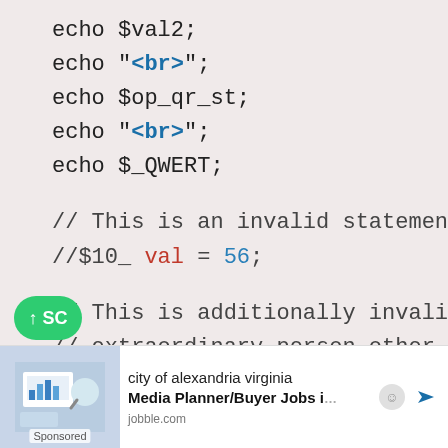echo $val2;
echo "<br>";
echo $op_qr_st;
echo "<br>";
echo $_QWERT;
// This is an invalid statement as it starts with a num
//$10_ val = 56;
// This is additionally invalid as it contains
// extraordinary person other than _
//$f.d = "num";
[Figure (screenshot): Advertisement banner: city of alexandria virginia Media Planner/Buyer Jobs, jobble.com, Sponsored]